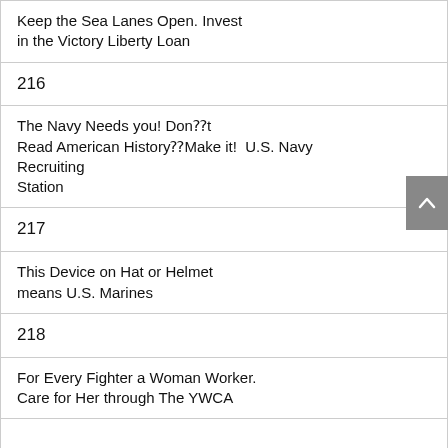| Keep the Sea Lanes Open. Invest in the Victory Liberty Loan |
| 216 |
| The Navy Needs you! Don⁇t Read American History⁇Make it!  U.S. Navy Recruiting Station |
| 217 |
| This Device on Hat or Helmet means U.S. Marines |
| 218 |
| For Every Fighter a Woman Worker. Care for Her through The YWCA |